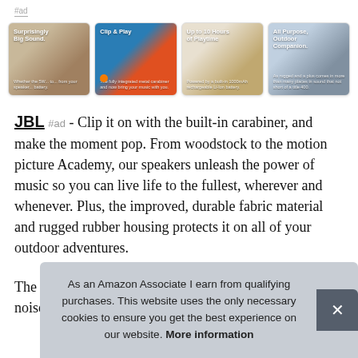#ad
[Figure (photo): Four product images in a row: 1) Person with backpack and JBL speaker labeled 'Surprisingly Big Sound.' 2) Colorful round JBL speakers on blue background labeled 'Clip & Play' 3) Multiple JBL Clip speakers in various colors labeled 'Up to 10 Hours of Playtime' 4) Hand holding JBL speaker near water labeled 'All Purpose, Outdoor Companion']
JBL #ad - Clip it on with the built-in carabiner, and make the moment pop. From woodstock to the motion picture Academy, our speakers unleash the power of music so you can live life to the fullest, wherever and whenever. Plus, the improved, durable fabric material and rugged rubber housing protects it on all of your outdoor adventures.
The ... people ... from ... noise and echo-cancelling speakerphone.
As an Amazon Associate I earn from qualifying purchases. This website uses the only necessary cookies to ensure you get the best experience on our website. More information